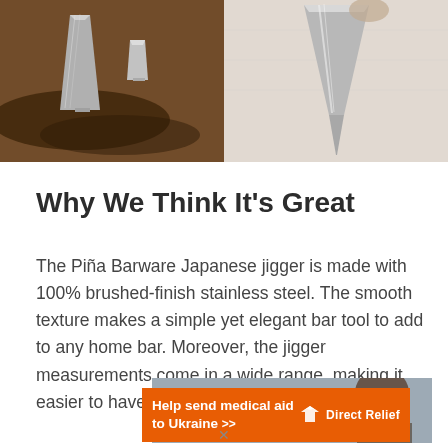[Figure (photo): Two photos side by side of stainless steel Japanese jigger bar tools. Left photo shows jigger on dark surface with coffee grounds; right photo shows jigger on light fabric surface.]
Why We Think It’s Great
The Piña Barware Japanese jigger is made with 100% brushed-finish stainless steel. The smooth texture makes a simple yet elegant bar tool to add to any home bar. Moreover, the jigger measurements come in a wide range, making it easier to have precise pours.
[Figure (illustration): Advertisement banner: orange bar with text 'Help send medical aid to Ukraine >>' and Direct Relief logo on the right, over a background photo of a person.]